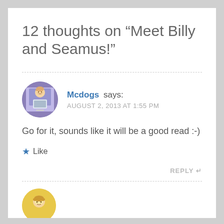12 thoughts on “Meet Billy and Seamus!”
Mcdogs says:
AUGUST 2, 2013 AT 1:55 PM
Go for it, sounds like it will be a good read :-)
Like
REPLY